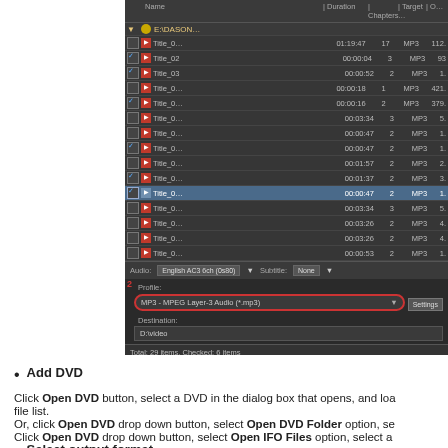[Figure (screenshot): Screenshot of a DVD ripping software showing a file list with multiple Title entries, checkboxes, duration/chapter/target columns. A highlighted row shows Title_0... 00:00:47. Below the list is an Audio bar (English AC3 6ch), a Profile section with a red-circled dropdown showing 'MP3 - MPEG Layer-3 Audio (*.mp3)' and a Settings button, a Destination field showing 'D:|video', and a total bar reading 'Total: 29 items, Checked: 6 items'. A red '2' badge appears near the profile section.]
Add DVD
Click Open DVD button, select a DVD in the dialog box that opens, and load the file list.
Or, click Open DVD drop down button, select Open DVD Folder option, se...
Click Open DVD drop down button, select Open IFO Files option, select a...
Select output format
Choose one or more files in the file list, and open Profile drop-down list, th...